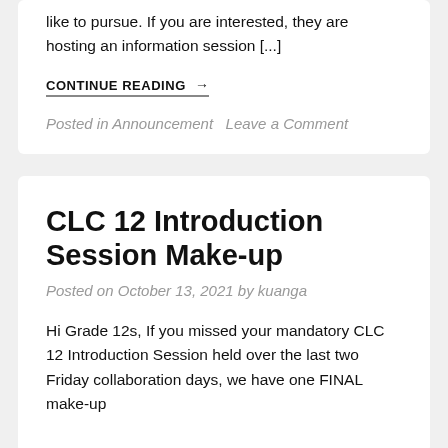like to pursue. If you are interested, they are hosting an information session [...]
CONTINUE READING →
Posted in Announcement   Leave a Comment
CLC 12 Introduction Session Make-up
Posted on October 13, 2021 by kuanga
Hi Grade 12s, If you missed your mandatory CLC 12 Introduction Session held over the last two Friday collaboration days, we have one FINAL make-up